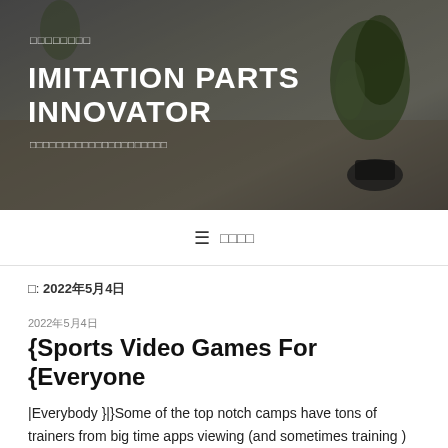[Figure (photo): Header banner with blurred indoor scene showing plants and furniture, with dark overlay. Contains website branding text.]
IMITATION PARTS INNOVATOR
☐☐☐☐☐☐☐☐ | ☐☐☐☐☐☐☐☐☐☐☐☐☐☐☐☐☐☐☐☐☐
≡  ☐☐☐☐
☐: 2022年5月4日
2022年5月4日
{Sports Video Games For {Everyone
|Everybody }|}Some of the top notch camps have tons of trainers from big time apps viewing (and sometimes training ) the drills that high school players are put through. I've produced no articles in 2019. It's time to alter that. Last monthI was able only 6 blog articles. Fast